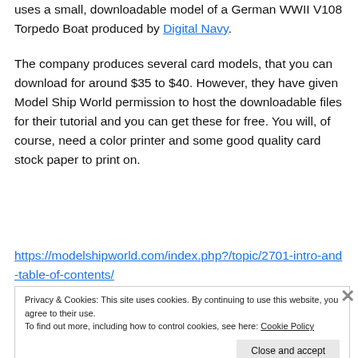uses a small, downloadable model of a German WWII V108 Torpedo Boat produced by Digital Navy.
The company produces several card models, that you can download for around $35 to $40. However, they have given Model Ship World permission to host the downloadable files for their tutorial and you can get these for free. You will, of course, need a color printer and some good quality card stock paper to print on.
https://modelshipworld.com/index.php?/topic/2701-intro-and-table-of-contents/
Privacy & Cookies: This site uses cookies. By continuing to use this website, you agree to their use.
To find out more, including how to control cookies, see here: Cookie Policy
Close and accept